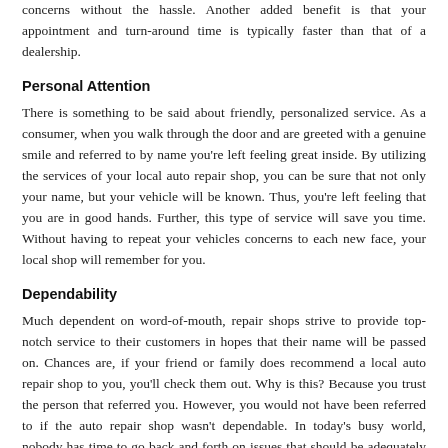concerns without the hassle.  Another added benefit is that your appointment and turn-around time is typically faster than that of a dealership.
Personal Attention
There is something to be said about friendly, personalized service.  As a consumer, when you walk through the door and are greeted with a genuine smile and referred to by name you're left feeling great inside.  By utilizing the services of your local auto repair shop, you can be sure that not only your name, but your vehicle will be known.  Thus, you're left feeling that you are in good hands.  Further, this type of service will save you time.  Without having to repeat your vehicles concerns to each new face, your local shop will remember for you.
Dependability
Much dependent on word-of-mouth, repair shops strive to provide top-notch service to their customers in hopes that their name will be passed on.  Chances are, if your friend or family does recommend a local auto repair shop to you, you'll check them out.  Why is this?  Because you trust the person that referred you.  However, you would not have been referred to if the auto repair shop wasn't dependable.  In today's busy world, nobody has time to go back and forth on issues that should be adequately corrected the first time.  Being dependable ensures customers not only come back time and time again but refer